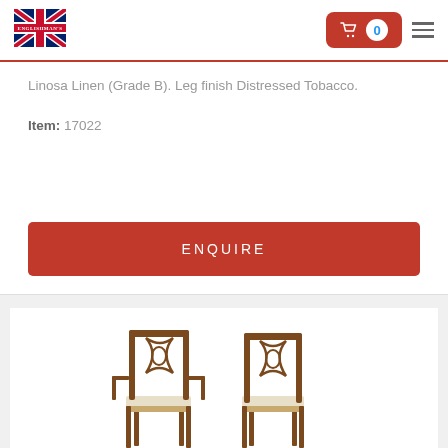[Figure (logo): Englishman's logo with Union Jack flag]
Linosa Linen (Grade B). Leg finish Distressed Tobacco.
Item: 17022
ENQUIRE
[Figure (photo): Two Chippendale-style dining chairs with carved wooden backs and light upholstered seats, shown side by side]